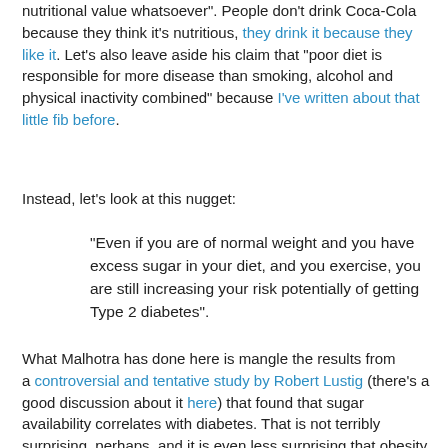nutritional value whatsoever". People don't drink Coca-Cola because they think it's nutritious, they drink it because they like it. Let's also leave aside his claim that "poor diet is responsible for more disease than smoking, alcohol and physical inactivity combined" because I've written about that little fib before.
Instead, let's look at this nugget:
"Even if you are of normal weight and you have excess sugar in your diet, and you exercise, you are still increasing your risk potentially of getting Type 2 diabetes".
What Malhotra has done here is mangle the results from a controversial and tentative study by Robert Lustig (there's a good discussion about it here) that found that sugar availability correlates with diabetes. That is not terribly surprising, perhaps, and it is even less surprising that obesity correlates with diabetes.